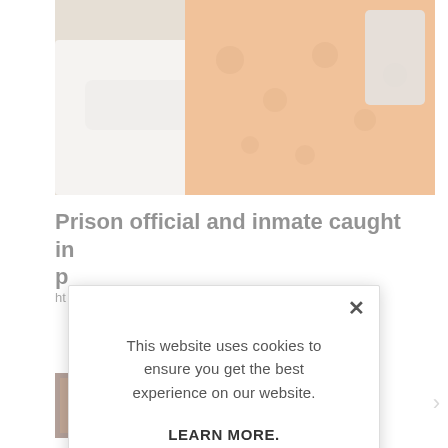[Figure (photo): A photo showing a person in white clothing and another in an orange patterned garment, partially cropped]
Prison official and inmate caught in p
ht
[Figure (screenshot): Cookie consent modal overlay on a news website with close button, cookie notice text, LEARN MORE link, and ACCEPT COOKIES button]